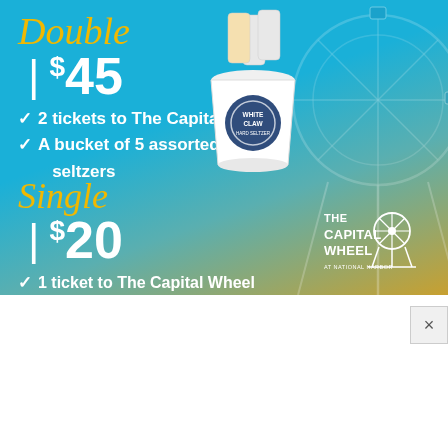[Figure (infographic): Advertisement for The Capital Wheel with White Claw Hard Seltzer promotion. Blue/teal/gold gradient background with a Ferris wheel visible on the right, a White Claw bucket of seltzers prominently displayed. Double package: $45 includes 2 tickets to The Capital Wheel and a bucket of 5 assorted seltzers. Single package: $20 includes 1 ticket to The Capital Wheel and 1 seltzer. The Capital Wheel logo at bottom right.]
This is the Rusted Mountain Roost Gooseneck Trailer Tiny House.
It was custom-built by Rocky Mountain Tiny Houses f...